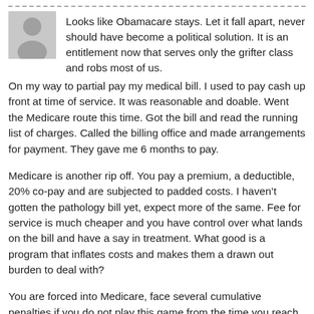[Figure (illustration): Generic user avatar silhouette in grey square]
Looks like Obamacare stays. Let it fall apart, never should have become a political solution. It is an entitlement now that serves only the grifter class and robs most of us.
On my way to partial pay my medical bill. I used to pay cash up front at time of service. It was reasonable and doable. Went the Medicare route this time. Got the bill and read the running list of charges. Called the billing office and made arrangements for payment. They gave me 6 months to pay.
Medicare is another rip off. You pay a premium, a deductible, 20% co-pay and are subjected to padded costs. I haven't gotten the pathology bill yet, expect more of the same. Fee for service is much cheaper and you have control over what lands on the bill and have a say in treatment. What good is a program that inflates costs and makes them a drawn out burden to deal with?
You are forced into Medicare, face several cumulative penalties if you do not play this game from the time you reach eligibility age. I read on-line that the reason you are forced to sign on is so that Medicare can afford the costs of the much elderly. Medicare.